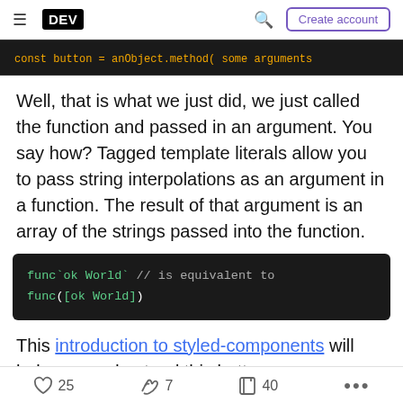DEV | Create account
[Figure (screenshot): Code block snippet showing: const button = anObject.method( some arguments]
Well, that is what we just did, we just called the function and passed in an argument. You say how? Tagged template literals allow you to pass string interpolations as an argument in a function. The result of that argument is an array of the strings passed into the function.
[Figure (screenshot): Code block showing: func`ok World` // is equivalent to
func([ok World])]
This introduction to styled-components will help you understand this better.
25  7  40  ...